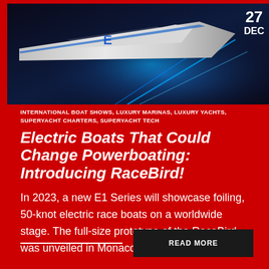[Figure (photo): Futuristic electric race boat (RaceBird) in dark blue background with glowing blue light streaks and a number on the hull]
27 DEC
INTERNATIONAL BOAT SHOWS, LUXURY MARINAS, LUXURY YACHTS, SUPERYACHT CHARTERS, SUPERYACHT TECH
Electric Boats That Could Change Powerboating: Introducing RaceBird!
In 2023, a new E1 Series will showcase foiling, 50-knot electric race boats on a worldwide stage. The full-size prototype of the RaceBird was unveiled in Monaco in 2021. With [...]
READ MORE